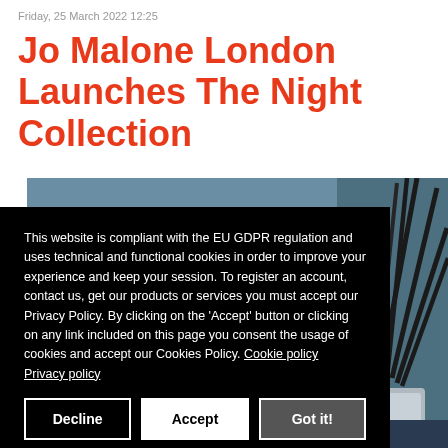Friday, 25 March 2022 12:25
Jo Malone London Launches The Night Collection
[Figure (photo): Dark teal/blue background with black reed diffuser sticks in a silver vessel, partially visible on the right side of the photo.]
This website is compliant with the EU GDPR regulation and uses technical and functional cookies in order to improve your experience and keep your session. To register an account, contact us, get our products or services you must accept our Privacy Policy. By clicking on the 'Accept' button or clicking on any link included on this page you consent the usage of cookies and accept our Cookies Policy. Cookie policy  Privacy policy
Decline | Accept | Got it!